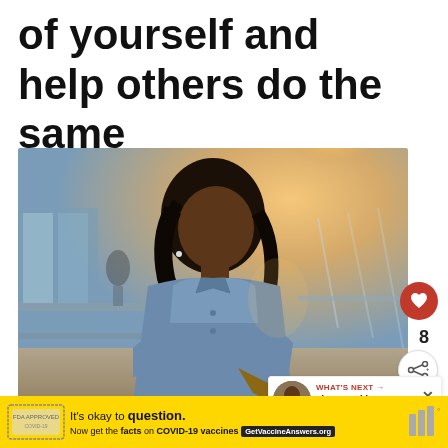of yourself and help others do the same
[Figure (photo): Professional young Black woman in a blue denim shirt, arms crossed, standing in a modern office/airport interior with glass railings and warm backlight]
8
[Figure (infographic): WHAT'S NEXT arrow. The One Thing You Need To...]
[Figure (infographic): Ad banner: It's okay to question. Now get the facts on COVID-19 vaccines. GetVaccineAnswers.org]